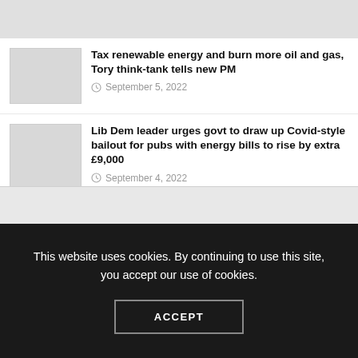[Figure (photo): Gray thumbnail image strip at top of page (partially visible)]
Tax renewable energy and burn more oil and gas, Tory think-tank tells new PM
September 5, 2022
Lib Dem leader urges govt to draw up Covid-style bailout for pubs with energy bills to rise by extra £9,000
September 4, 2022
This website uses cookies. By continuing to use this site, you accept our use of cookies.